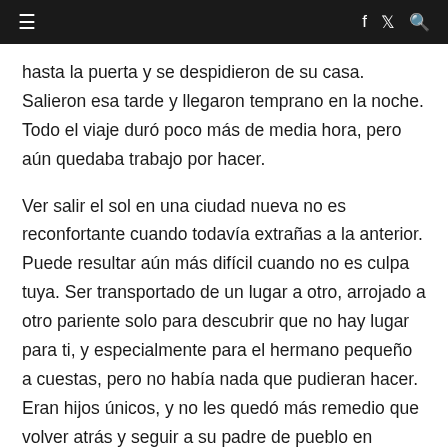≡  f  t  🔍
hasta la puerta y se despidieron de su casa. Salieron esa tarde y llegaron temprano en la noche. Todo el viaje duró poco más de media hora, pero aún quedaba trabajo por hacer.
Ver salir el sol en una ciudad nueva no es reconfortante cuando todavía extrañas a la anterior. Puede resultar aún más difícil cuando no es culpa tuya. Ser transportado de un lugar a otro, arrojado a otro pariente solo para descubrir que no hay lugar para ti, y especialmente para el hermano pequeño a cuestas, pero no había nada que pudieran hacer. Eran hijos únicos, y no les quedó más remedio que volver atrás y seguir a su padre de pueblo en pueblo. El último había sido el más largo en el que se